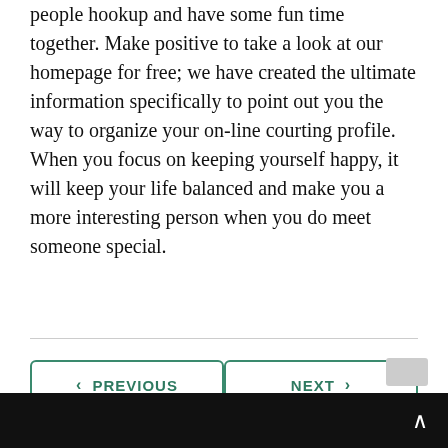people hookup and have some fun time together. Make positive to take a look at our homepage for free; we have created the ultimate information specifically to point out you the way to organize your on-line courting profile. When you focus on keeping yourself happy, it will keep your life balanced and make you a more interesting person when you do meet someone special.
‹ PREVIOUS
NEXT ›